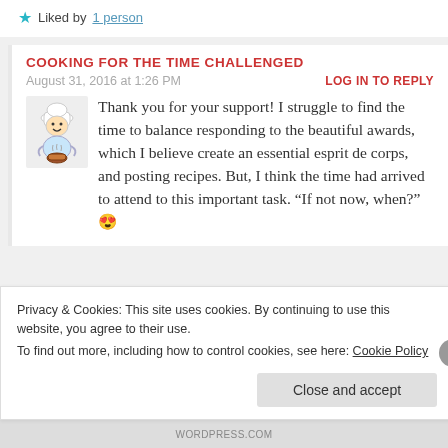★ Liked by 1 person
COOKING FOR THE TIME CHALLENGED
August 31, 2016 at 1:26 PM
LOG IN TO REPLY
[Figure (illustration): Cartoon avatar of a chef/cook character holding a bowl]
Thank you for your support! I struggle to find the time to balance responding to the beautiful awards, which I believe create an essential esprit de corps, and posting recipes. But, I think the time had arrived to attend to this important task. “If not now, when?” 😍
Privacy & Cookies: This site uses cookies. By continuing to use this website, you agree to their use.
To find out more, including how to control cookies, see here: Cookie Policy
Close and accept